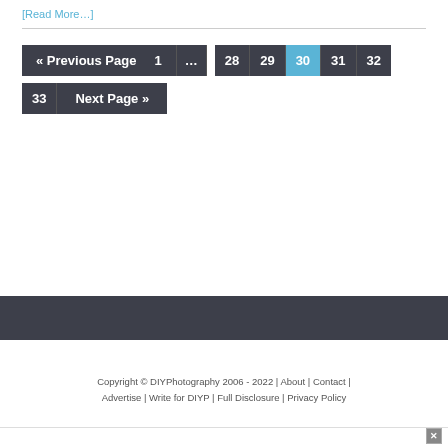[Read More...]
« Previous Page  1  ...  28  29  30  31  32  33  Next Page »
Copyright © DIYPhotography 2006 - 2022 | About | Contact | Advertise | Write for DIYP | Full Disclosure | Privacy Policy